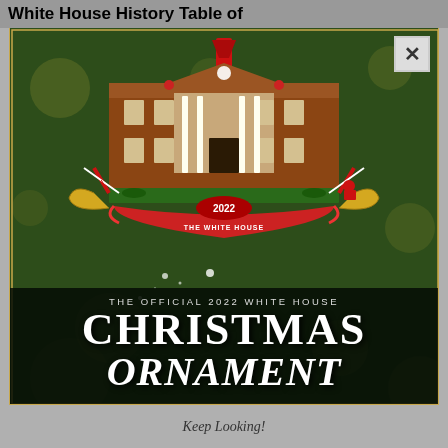White House History Table of
[Figure (photo): The Official 2022 White House Christmas Ornament promotional image. Shows a decorative ornament shaped like the White House facade in gingerbread style with red ribbon hanger, candy canes, holly, and a banner reading '2022 THE WHITE HOUSE'. Background is a bokeh Christmas tree. Text overlay reads 'THE OFFICIAL 2022 WHITE HOUSE CHRISTMAS ORNAMENT'. A close button (X) appears in the top right corner.]
THE OFFICIAL 2022 WHITE HOUSE
CHRISTMAS ORNAMENT
Keep Looking!